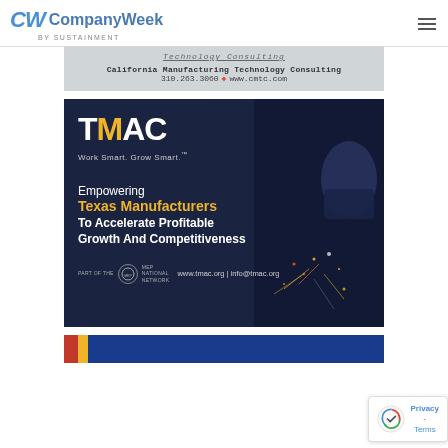CW CompanyWeek by SUSTAINMENT
[Figure (advertisement): CMTC California Manufacturing Technology Consulting advertisement with text: California Manufacturing Technology Consulting, 310.263.3060, www.cmtc.com]
[Figure (advertisement): TMAC advertisement on dark navy background with welding sparks. Logo: TMAC Work Smart. Grow Smart. Text: Empowering Texas Manufacturers To Accelerate Profitable Growth And Competitiveness. Footer: PART OF THE MEP National Network, www.tmac.org | info@tmac.org]
[Figure (advertisement): Partial advertisement at bottom with red, yellow, and blue color blocks]